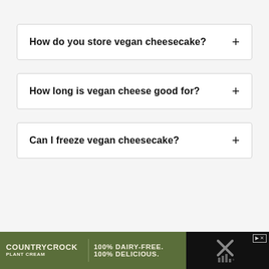How do you store vegan cheesecake?
How long is vegan cheese good for?
Can I freeze vegan cheesecake?
[Figure (other): Country Crock Plant Cream advertisement banner: green background with logo on left, tagline '100% DAIRY-FREE. 100% DELICIOUS.' in center, close/mute icons on right.]